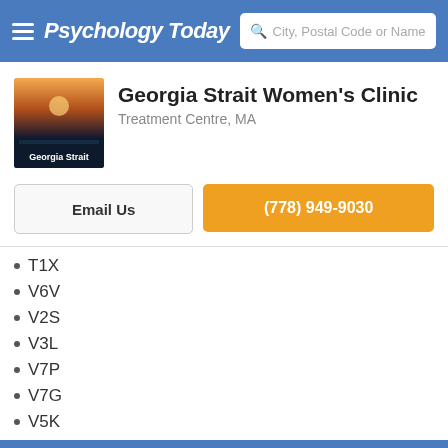Psychology Today — City, Postal Code or Name
Georgia Strait Women's Clinic
Treatment Centre, MA
Email Us | (778) 949-9030
T1X
V6V
V2S
V3L
V7P
V7G
V5K
V8A
Last Modified: 27 Oct 2020